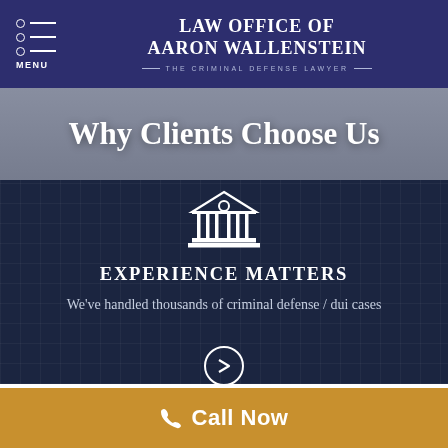Law Office of Aaron Wallenstein — The Criminal Defense Lawyer
Why Clients Choose Us
[Figure (illustration): White outline icon of a courthouse/bank building with columns and a triangular pediment with a circular window]
EXPERIENCE MATTERS
We've handled thousands of criminal defense / dui cases
Call Now